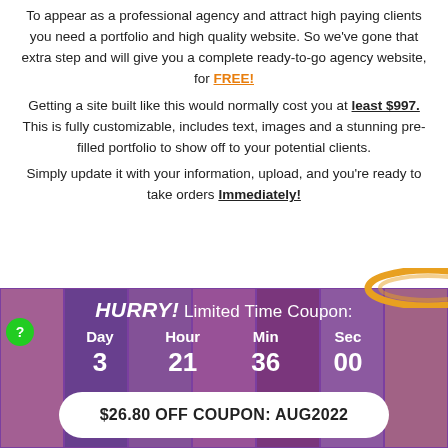To appear as a professional agency and attract high paying clients you need a portfolio and high quality website. So we've gone that extra step and will give you a complete ready-to-go agency website, for FREE!
Getting a site built like this would normally cost you at least $997. This is fully customizable, includes text, images and a stunning pre-filled portfolio to show off to your potential clients.
Simply update it with your information, upload, and you're ready to take orders Immediately!
HURRY! Limited Time Coupon: Day 3 | Hour 21 | Min 36 | Sec 00
$26.80 OFF COUPON: AUG2022